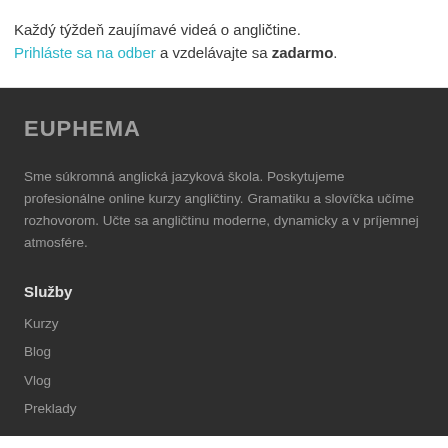Každý týždeň zaujímavé videá o angličtine. Prihláste sa na odber a vzdelávajte sa zadarmo.
EUPHEMA
Sme súkromná anglická jazyková škola. Poskytujeme profesionálne online kurzy angličtiny. Gramatiku a slovíčka učíme rozhovorom. Učte sa angličtinu moderne, dynamicky a v príjemnej atmosfére.
Služby
Kurzy
Blog
Vlog
Preklady